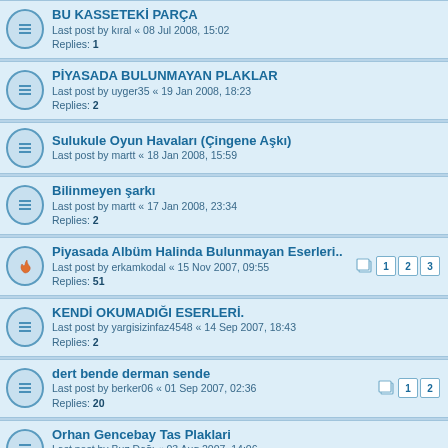BU KASSETEKİ PARÇA
Last post by kıral « 08 Jul 2008, 15:02
Replies: 1
PİYASADA BULUNMAYAN PLAKLAR
Last post by uyger35 « 19 Jan 2008, 18:23
Replies: 2
Sulukule Oyun Havaları (Çingene Aşkı)
Last post by martt « 18 Jan 2008, 15:59
Bilinmeyen şarkı
Last post by martt « 17 Jan 2008, 23:34
Replies: 2
Piyasada Albüm Halinda Bulunmayan Eserleri..
Last post by erkamkodal « 15 Nov 2007, 09:55
Replies: 51
KENDİ OKUMАDIĞI ESERLERİ.
Last post by yargisizinfaz4548 « 14 Sep 2007, 18:43
Replies: 2
dert bende derman sende
Last post by berker06 « 01 Sep 2007, 02:36
Replies: 20
Orhan Gencebay Tas Plaklari
Last post by Buz Dağı « 03 Aug 2007, 14:06
Replies: 1
Kul Hatası
Last post by tecoo « 31 Jul 2007, 17:46
Replies: 0